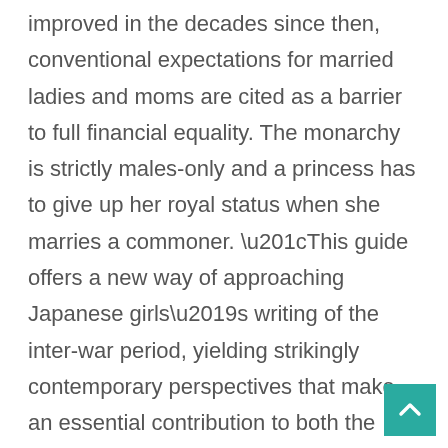improved in the decades since then, conventional expectations for married ladies and moms are cited as a barrier to full financial equality. The monarchy is strictly males-only and a princess has to give up her royal status when she marries a commoner. “This guide offers a new way of approaching Japanese girls’s writing of the inter-war period, yielding strikingly contemporary perspectives that make an essential contribution to both the fields of gender research and Japanese literature.” When it involves Japanese women, they’re much more mysterious than the country they live in. Ladies from Japan contemplate marriage their top precedence treating household bonds very significantly. Instead of going out and having